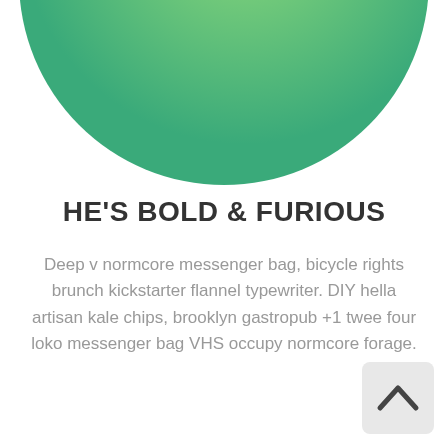[Figure (illustration): A large circle with a green gradient (light green at top-right, darker green at bottom-left), cropped so only the bottom portion is visible at the top of the page.]
HE'S BOLD & FURIOUS
Deep v normcore messenger bag, bicycle rights brunch kickstarter flannel typewriter. DIY hella artisan kale chips, brooklyn gastropub +1 twee four loko messenger bag VHS occupy normcore forage.
[Figure (illustration): A light gray rounded square button with an upward-pointing chevron/caret arrow in dark gray, located in the bottom-right corner of the page.]